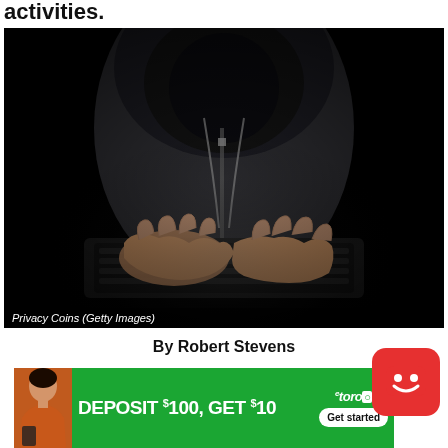activities.
[Figure (photo): Dark photo of a person in a hoodie typing on a laptop, face hidden in shadow. Represents illicit or anonymous online activity.]
Privacy Coins (Getty Images)
By Robert Stevens
[Figure (other): eToro advertisement banner: 'DEPOSIT $100, GET $10' with a woman in orange top, eToro logo, and 'Get started' button. A red chatbot bubble with a smiley face overlaps the top-right corner.]